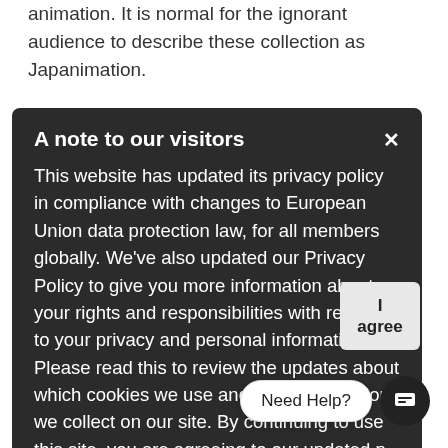animation. It is normal for the ignorant audience to describe these collection as Japanimation.
Lots of this century have a fairly diverse design from what would frequently be called anime design. Yet variations still make use of the term to refer to these titles. The choice regular type productions can consist of overstated attributes like huge eyes, unusually small and large out of proportion form or legs in. Additionally designed speech bubbles or ate lines. The most significant aspect in anime direct exposure outside Japan to the web, due to the web/web in bittorig during expanded from 1.6 billion yen to over 180
A note to our visitors
This website has updated its privacy policy in compliance with changes to European Union data protection law, for all members globally. We've also updated our Privacy Policy to give you more information about your rights and responsibilities with respect to your privacy and personal information. Please read this to review the updates about which cookies we use and what information we collect on our site. By continuing to use this site, you are agreeing to our updated p
Need Help?